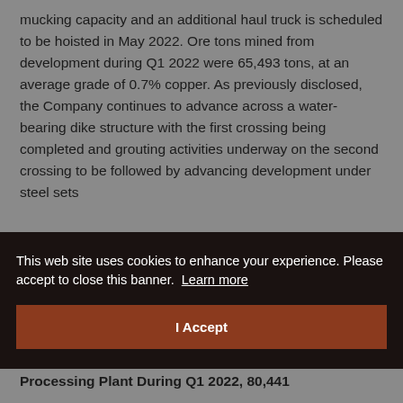mucking capacity and an additional haul truck is scheduled to be hoisted in May 2022. Ore tons mined from development during Q1 2022 were 65,493 tons, at an average grade of 0.7% copper. As previously disclosed, the Company continues to advance across a water-bearing dike structure with the first crossing being completed and grouting activities underway on the second crossing to be followed by advancing development under steel sets
ater ment
y 2022.
[Figure (screenshot): Cookie consent banner overlay with dark background, stating 'This web site uses cookies to enhance your experience. Please accept to close this banner.' with a Learn more link and a brown 'I Accept' button.]
Processing Plant During Q1 2022, 80,441...